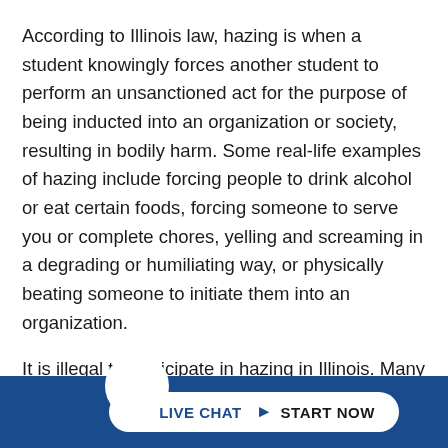According to Illinois law, hazing is when a student knowingly forces another student to perform an unsanctioned act for the purpose of being inducted into an organization or society, resulting in bodily harm. Some real-life examples of hazing include forcing people to drink alcohol or eat certain foods, forcing someone to serve you or complete chores, yelling and screaming in a degrading or humiliating way, or physically beating someone to initiate them into an organization.
It is illegal to participate in hazing in Illinois. Many schools have their own hazing philosophies, defining hazing as an act that does not contribute to an individual's positive development, inflicts emotional or psychological harm, or demean... dis...